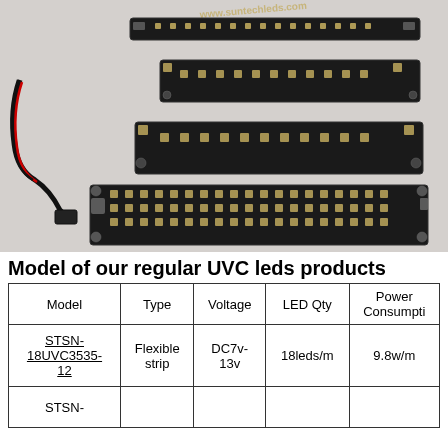[Figure (photo): Photo of multiple black PCB LED strip boards of varying sizes with UVC LEDs mounted on them, plus a USB cable. Boards shown from top to bottom: narrow single-row strip, medium single-row board, wider single-row board, and large double/triple-row board.]
Model of our regular UVC leds products
| Model | Type | Voltage | LED Qty | Power Consumpti |
| --- | --- | --- | --- | --- |
| STSN-18UVC3535-12 | Flexible strip | DC7v-13v | 18leds/m | 9.8w/m |
| STSN- |  |  |  |  |